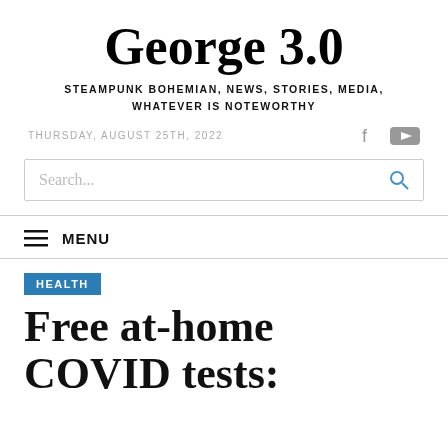George 3.0
STEAMPUNK BOHEMIAN, NEWS, STORIES, MEDIA, WHATEVER IS NOTEWORTHY
THURSDAY, AUGUST 25TH, 2022
Search...
MENU
HEALTH
Free at-home COVID tests: